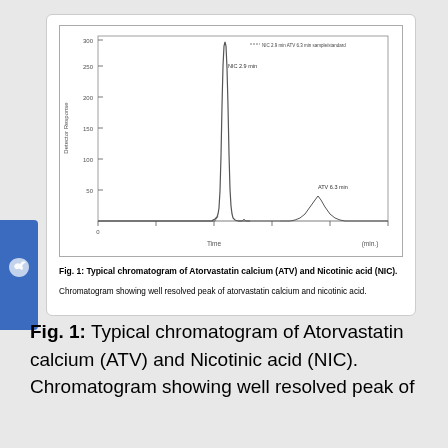[Figure (continuous-plot): HPLC chromatogram showing two peaks: a tall sharp peak labeled NIC (2.9 min) near the center-left, and a smaller broader peak labeled ATV (6.3 min) to the right. Y-axis shows detector response (arbitrary units, ~0 to 300+). X-axis shows time in minutes. Legend text visible at top right.]
Fig. 1: Typical chromatogram of Atorvastatin calcium (ATV) and Nicotinic acid (NIC).
Chromatogram showing well resolved peak of atorvastatin calcium and nicotinic acid.
Fig. 1: Typical chromatogram of Atorvastatin calcium (ATV) and Nicotinic acid (NIC).
Chromatogram showing well resolved peak of atorvastatin calcium and nicotinic acid.